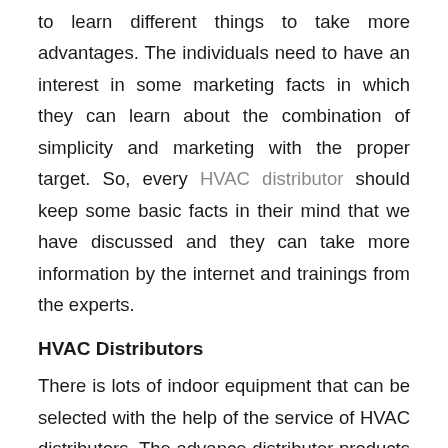to learn different things to take more advantages. The individuals need to have an interest in some marketing facts in which they can learn about the combination of simplicity and marketing with the proper target. So, every HVAC distributor should keep some basic facts in their mind that we have discussed and they can take more information by the internet and trainings from the experts.
HVAC Distributors
There is lots of indoor equipment that can be selected with the help of the service of HVAC distributors. The advance distributer products can be taken from these kinds of services. You can have a leading manufacturer with the high-quality indoor equipment of HVAC. You should know about the main parts of the HVAC system that is covering heating, ventilation. On the other hand, you can